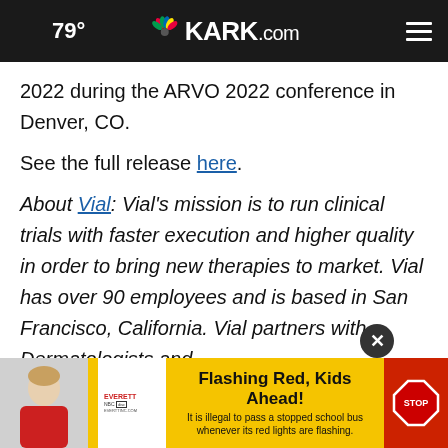79° KARK.com
2022 during the ARVO 2022 conference in Denver, CO.
See the full release here.
About Vial: Vial's mission is to run clinical trials with faster execution and higher quality in order to bring new therapies to market. Vial has over 90 employees and is based in San Francisco, California. Vial partners with Dermatologists and Ophthalmologists to... team
[Figure (infographic): Advertisement banner: Everett NBC affiliate logo on left. Yellow background with text 'Flashing Red, Kids Ahead! It is illegal to pass a stopped school bus whenever its red lights are flashing.' Stop sign on right.]